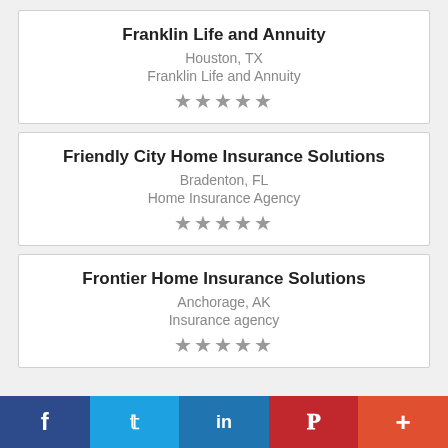Franklin Life and Annuity
Houston, TX
Franklin Life and Annuity
[Figure (other): 5 grey stars rating]
Friendly City Home Insurance Solutions
Bradenton, FL
Home Insurance Agency
[Figure (other): 5 grey stars rating]
Frontier Home Insurance Solutions
Anchorage, AK
Insurance agency
[Figure (other): 5 grey stars rating]
f  Twitter  in  P  +